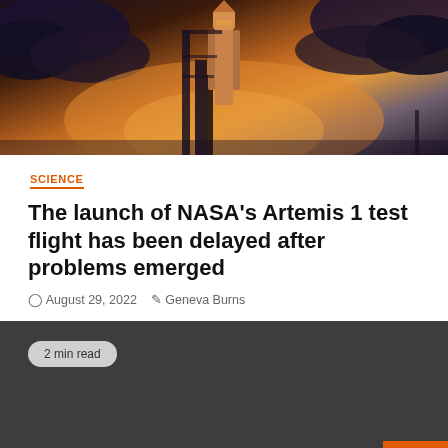[Figure (photo): NASA Space Launch System rocket on launch pad at dusk/sunset with dramatic cloudy sky in orange and purple tones]
SCIENCE
The launch of NASA's Artemis 1 test flight has been delayed after problems emerged
August 29, 2022   Geneva Burns
2 min read